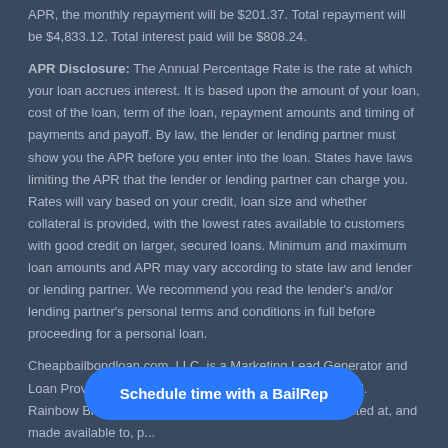APR, the monthly repayment will be $201.37. Total repayment will be $4,833.12. Total interest paid will be $808.24.
APR Disclosure: The Annual Percentage Rate is the rate at which your loan accrues interest. It is based upon the amount of your loan, cost of the loan, term of the loan, repayment amounts and timing of payments and payoff. By law, the lender or lending partner must show you the APR before you enter into the loan. States have laws limiting the APR that the lender or lending partner can charge you. Rates will vary based on your credit, loan size and whether collateral is provided, with the lowest rates available to customers with good credit on larger, secured loans. Minimum and maximum loan amounts and APR may vary according to state law and lender or lending partner. We recommend you read the lender's and/or lending partner's personal terms and conditions in full before proceeding for a personal loan.
Cheapbailbondloan.com, LLC. is a Marketing Lead Generator and Loan Provider Service with its main office located at 848 N. Rainbow Blvd. #3354, Las Vegas, NV 89107. The... directed at, and made available to, p...